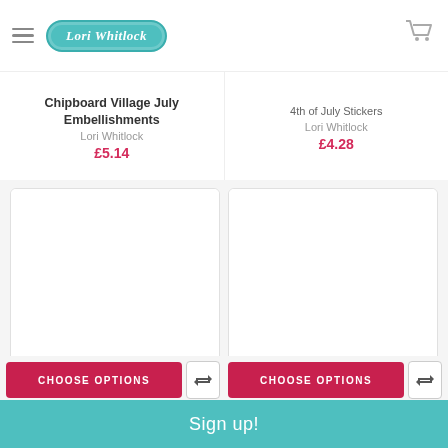Lori Whitlock
Chipboard Village July Embellishments
Lori Whitlock
£5.14
4th of July Stickers
Lori Whitlock
£4.28
[Figure (photo): Product image: Awesome 4th of July Bundle craft set with striped heart, decorated box, and patriotic crafts]
[Figure (photo): Product image: 4th of July Card featuring a striped heart on blue background]
CHOOSE OPTIONS
CHOOSE OPTIONS
Sign up!